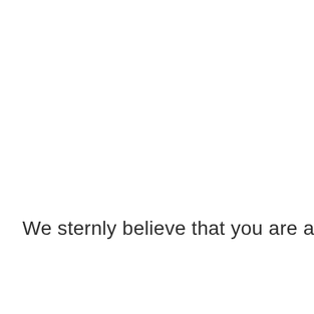We sternly believe that you are about to